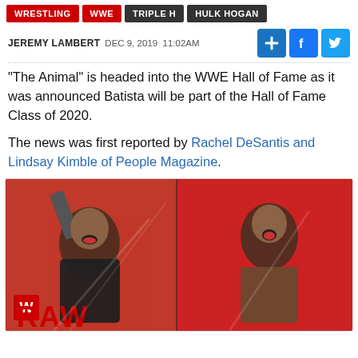WRESTLING | WWE | TRIPLE H | HULK HOGAN
JEREMY LAMBERT  DEC 9, 2019  11:02AM
"The Animal" is headed into the WWE Hall of Fame as it was announced Batista will be part of the Hall of Fame Class of 2020.
The news was first reported by Rachel DeSantis and Lindsay Kimble of People Magazine.
[Figure (photo): Two wrestlers on WWE RAW set with red background. Left: man in black shirt holding a pipe, mouth open. Right: shirtless man with mouth open. WWE RAW logo visible at bottom.]